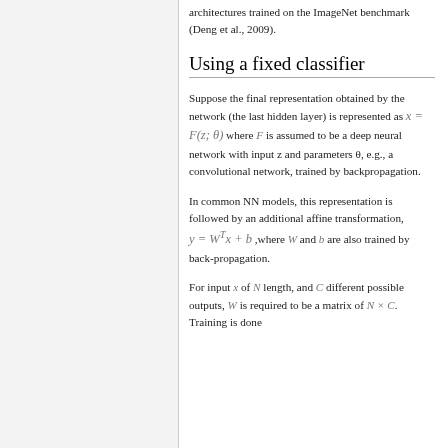architectures trained on the ImageNet benchmark (Deng et al., 2009).
Using a fixed classifier
Suppose the final representation obtained by the network (the last hidden layer) is represented as x = F(z; θ) where F is assumed to be a deep neural network with input z and parameters θ, e.g., a convolutional network, trained by backpropagation.
In common NN models, this representation is followed by an additional affine transformation, y = W^T x + b, where W and b are also trained by back-propagation.
For input x of N length, and C different possible outputs, W is required to be a matrix of N × C. Training is done